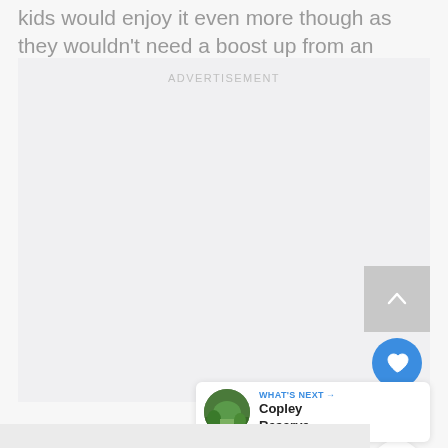kids would enjoy it even more though as they wouldn't need a boost up from an adult.
[Figure (other): Advertisement placeholder box with 'ADVERTISEMENT' label in light gray text on a light gray background]
[Figure (other): UI controls: scroll-to-top button (gray square with up chevron), heart/favorite button (blue circle), like count '1', share button (white circle with share icon)]
[Figure (other): 'WHAT'S NEXT' navigation card with circular thumbnail of a green park/reserve scene and text 'Copley Reserve...']